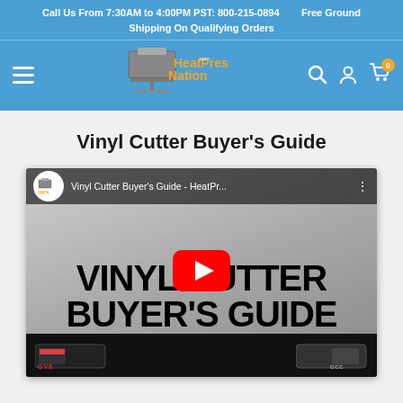Call Us From 7:30AM to 4:00PM PST: 800-215-0894   Free Ground Shipping On Qualifying Orders
[Figure (logo): HeatPressNation.com logo with heat press machine graphic, navigation bar with hamburger menu, search, account, and cart icons on blue background]
Vinyl Cutter Buyer's Guide
[Figure (screenshot): YouTube video thumbnail for 'Vinyl Cutter Buyer's Guide - HeatPr...' showing large bold text 'VINYL CUTTER BUYER'S GUIDE' with a red YouTube play button in the center, vinyl cutting machines visible at the bottom]